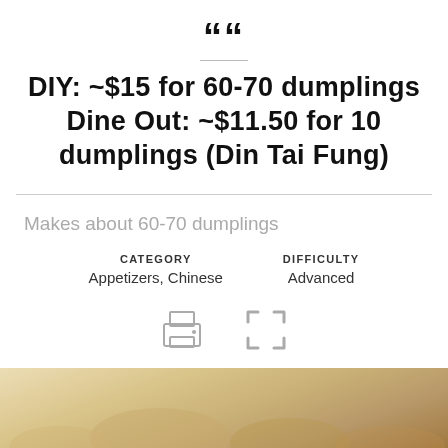““
DIY: ~$15 for 60-70 dumplings Dine Out: ~$11.50 for 10 dumplings (Din Tai Fung)
Makes about 60-70 dumplings
CATEGORY
Appetizers, Chinese
DIFFICULTY
Advanced
[Figure (illustration): Print icon and fullscreen/expand icon buttons]
[Figure (photo): Bottom portion of page showing a photo of dumplings on a wooden surface, partially visible]